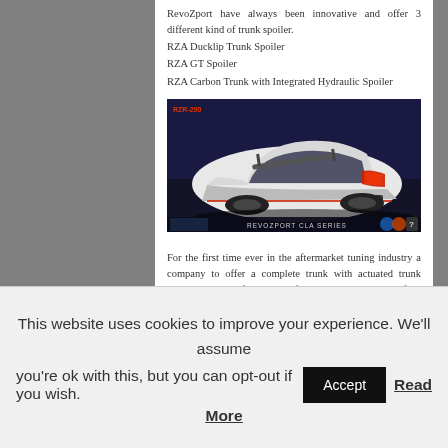RevoZport have always been innovative and offer 3 different kind of trunk spoiler.
RZA Ducklip Trunk Spoiler
RZA GT Spoiler
RZA Carbon Trunk with Integrated Hydraulic Spoiler
[Figure (photo): White sports car (RevoZport CLA Series) photographed from rear three-quarter angle, showing large wing spoiler, red-accented taillights, and dark background. Bottom bar reads 'REVOZPORT CLA SERIES' with logos.]
For the first time ever in the aftermarket tuning industry a company to offer a complete trunk with actuated trunk spoiler. This is definitely a perfect high-end automotive...
This website uses cookies to improve your experience. We'll assume you're ok with this, but you can opt-out if you wish.
Accept
Read More